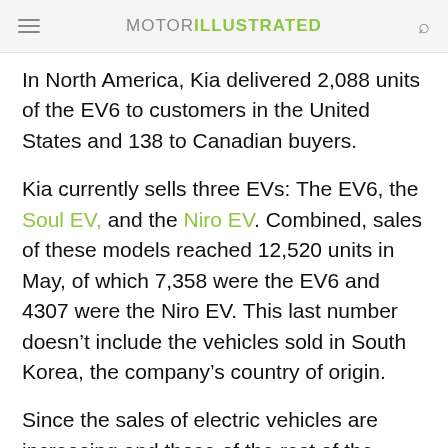MOTOR ILLUSTRATED
In North America, Kia delivered 2,088 units of the EV6 to customers in the United States and 138 to Canadian buyers.
Kia currently sells three EVs: The EV6, the Soul EV, and the Niro EV. Combined, sales of these models reached 12,520 units in May, of which 7,358 were the EV6 and 4307 were the Niro EV. This last number doesn’t include the vehicles sold in South Korea, the company’s country of origin.
Since the sales of electric vehicles are increasing and those of the rest of the lineup are decreasing,